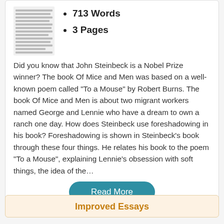[Figure (illustration): Thumbnail image of a document page with dense text lines]
713 Words
3 Pages
Did you know that John Steinbeck is a Nobel Prize winner? The book Of Mice and Men was based on a well-known poem called “To a Mouse” by Robert Burns. The book Of Mice and Men is about two migrant workers named George and Lennie who have a dream to own a ranch one day. How does Steinbeck use foreshadowing in his book? Foreshadowing is shown in Steinbeck’s book through these four things. He relates his book to the poem “To a Mouse”, explaining Lennie’s obsession with soft things, the idea of the…
Read More
Improved Essays